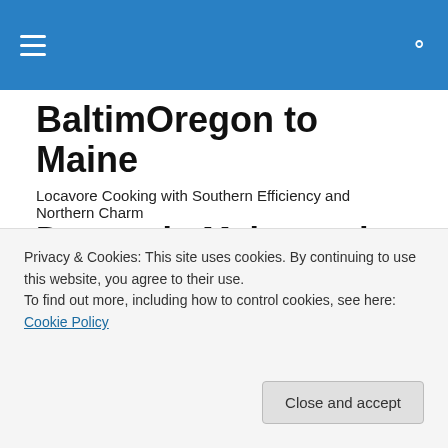BaltimOregon to Maine [navigation header with hamburger menu and search icon]
BaltimOregon to Maine
Locavore Cooking with Southern Efficiency and Northern Charm
Donuts in Maine and Oregon
[Figure (photo): Colorful donuts photo including a yellow donut with sprinkles and other pastries]
Privacy & Cookies: This site uses cookies. By continuing to use this website, you agree to their use.
To find out more, including how to control cookies, see here: Cookie Policy
Close and accept